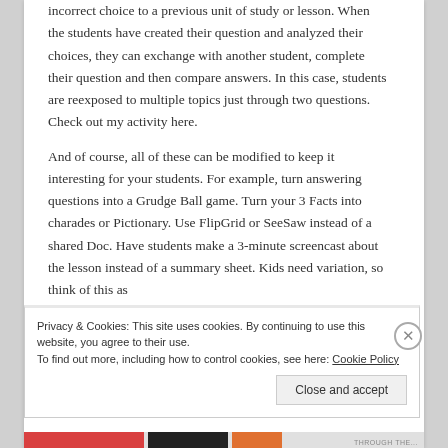incorrect choice to a previous unit of study or lesson. When the students have created their question and analyzed their choices, they can exchange with another student, complete their question and then compare answers. In this case, students are reexposed to multiple topics just through two questions. Check out my activity here.
And of course, all of these can be modified to keep it interesting for your students. For example, turn answering questions into a Grudge Ball game. Turn your 3 Facts into charades or Pictionary. Use FlipGrid or SeeSaw instead of a shared Doc. Have students make a 3-minute screencast about the lesson instead of a summary sheet. Kids need variation, so think of this as
Advertisements
Privacy & Cookies: This site uses cookies. By continuing to use this website, you agree to their use.
To find out more, including how to control cookies, see here: Cookie Policy
Close and accept